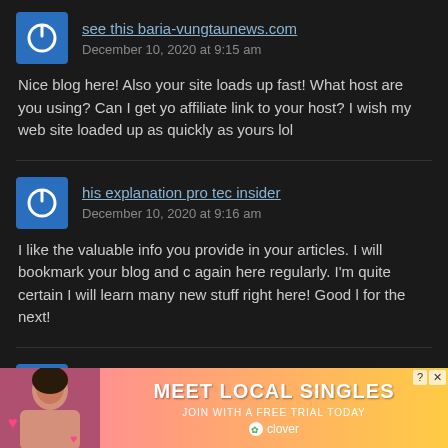[Figure (other): User avatar icon - blue square with white power button symbol]
see this baria-vungtaunews.com
December 10, 2020 at 9:15 am
Nice blog here! Also your site loads up fast! What host are you using? Can I get your affiliate link to your host? I wish my web site loaded up as quickly as yours lol
[Figure (other): User avatar icon - blue square with white power button symbol]
his explanation pro tec insider
December 10, 2020 at 9:16 am
I like the valuable info you provide in your articles. I will bookmark your blog and check again here regularly. I'm quite certain I will learn many new stuff right here! Good luck for the next!
[Figure (other): User avatar icon - blue square with white power button symbol]
have a peek at this web-site attock city news
December 10, 2020 at 9:26 am
What i don't realize is in truth how you are now not really much more smartly-preferred than you might be right now. You're very intelligent. You already know therefore considerably in relation to this topic, made me personally im... om a lot of numerous angles. Its like men and women aren't involved except it is something to with Wom... p!
[Figure (other): Advertisement banner: MEET LOCAL SINGLES - JOIN WITH A FREE TRIAL TODAY - clover app ad with woman photo]